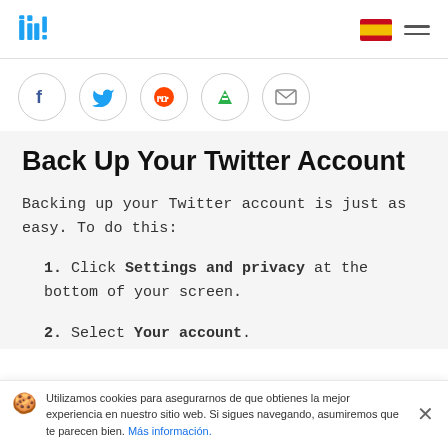Logo: Insider | Spain flag | Hamburger menu
[Figure (illustration): Social share buttons row: Facebook, Twitter, Reddit, Feedly, Email]
Back Up Your Twitter Account
Backing up your Twitter account is just as easy. To do this:
1. Click Settings and privacy at the bottom of your screen.
2. Select Your account.
Utilizamos cookies para asegurarnos de que obtienes la mejor experiencia en nuestro sitio web. Si sigues navegando, asumiremos que te parecen bien. Más información.